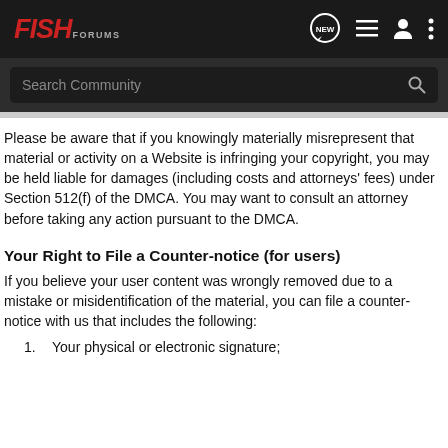FISH FORUMS [NEW] [list icon] [user icon] [more icon]
Search Community
Please be aware that if you knowingly materially misrepresent that material or activity on a Website is infringing your copyright, you may be held liable for damages (including costs and attorneys' fees) under Section 512(f) of the DMCA. You may want to consult an attorney before taking any action pursuant to the DMCA.
Your Right to File a Counter-notice (for users)
If you believe your user content was wrongly removed due to a mistake or misidentification of the material, you can file a counter-notice with us that includes the following:
Your physical or electronic signature;